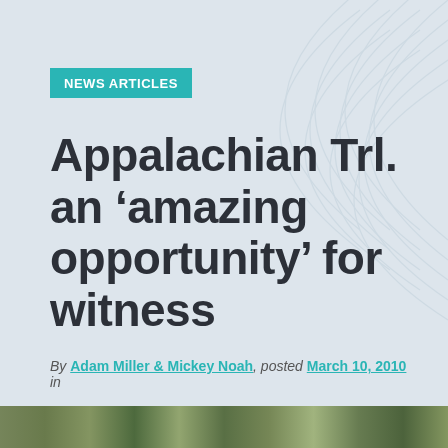NEWS ARTICLES
Appalachian Trl. an ‘amazing opportunity’ for witness
By Adam Miller & Mickey Noah, posted March 10, 2010 in
[Figure (photo): Strip of outdoor/nature photos at the bottom of the page showing Appalachian Trail scenery]